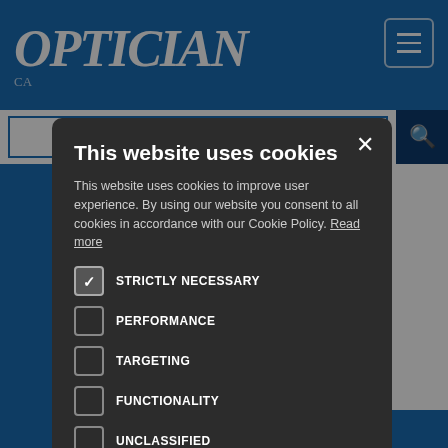[Figure (screenshot): Optician website background with blue header, logo, hamburger menu, search bar, and partially visible article text about business owners and optometry.]
This website uses cookies
This website uses cookies to improve user experience. By using our website you consent to all cookies in accordance with our Cookie Policy. Read more
STRICTLY NECESSARY
PERFORMANCE
TARGETING
FUNCTIONALITY
UNCLASSIFIED
ACCEPT ALL
DECLINE ALL
SHOW DETAILS